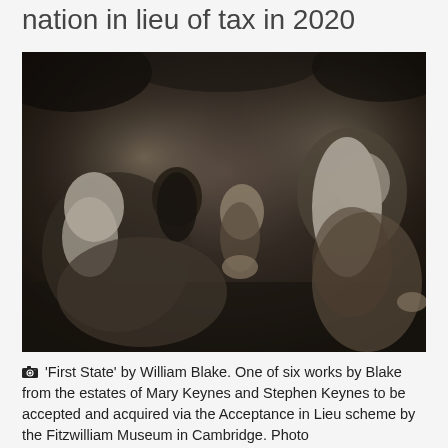nation in lieu of tax in 2020
[Figure (photo): Black and white engraving titled 'First State' by William Blake, showing several elderly bearded figures seated together, one large figure with a long white beard on the right looking upward, and a group of figures on the left including a dark-bearded man and a younger figure with hands clasped.]
'First State' by William Blake. One of six works by Blake from the estates of Mary Keynes and Stephen Keynes to be accepted and acquired via the Acceptance in Lieu scheme by the Fitzwilliam Museum in Cambridge. Photo courtesy of Saunders & Co.